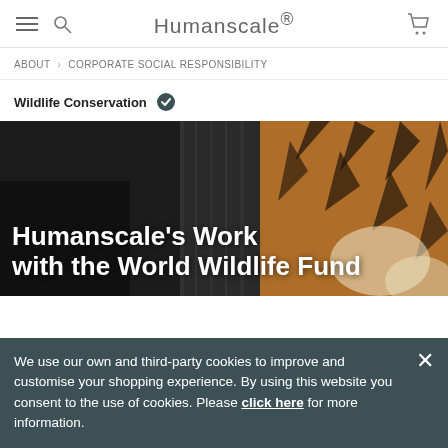Humanscale
ABOUT > CORPORATE SOCIAL RESPONSIBILITY
Wildlife Conservation
[Figure (photo): Tiger photo with overlaid text: Humanscale's Work with the World Wildlife Fund]
We use our own and third-party cookies to improve and customise your shopping experience. By using this website you consent to the use of cookies. Please click here for more information.